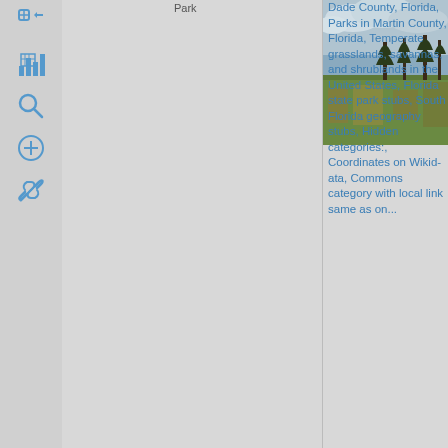[Figure (other): Toolbar icons: bar chart icon, magnifier/search icon, plus/zoom icon, link/chain icon]
Park
Dade County, Florida, Parks in Martin County, Florida, Temperate grasslands, savannas, and shrublands in the United States, Florida state park stubs, South Florida geography stubs, Hidden categories:, Coordinates on Wikidata, Commons category with local link same as on...
[Figure (photo): Outdoor landscape photo showing scrubby flatwoods or prairie with tall grasses, scattered pine trees in background, cloudy sky]